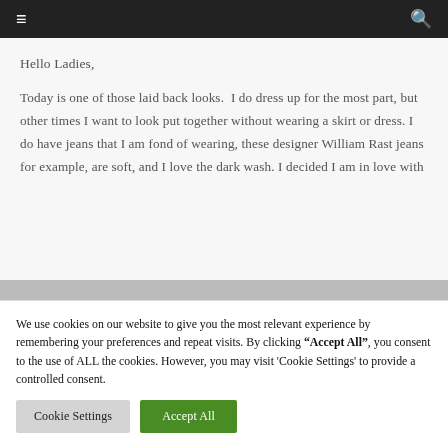≡  🔍
Hello Ladies,
Today is one of those laid back looks.  I do dress up for the most part, but other times I want to look put together without wearing a skirt or dress. I do have jeans that I am fond of wearing, these designer William Rast jeans for example, are soft, and I love the dark wash. I decided I am in love with
We use cookies on our website to give you the most relevant experience by remembering your preferences and repeat visits. By clicking "Accept All", you consent to the use of ALL the cookies. However, you may visit 'Cookie Settings' to provide a controlled consent.
Cookie Settings   Accept All